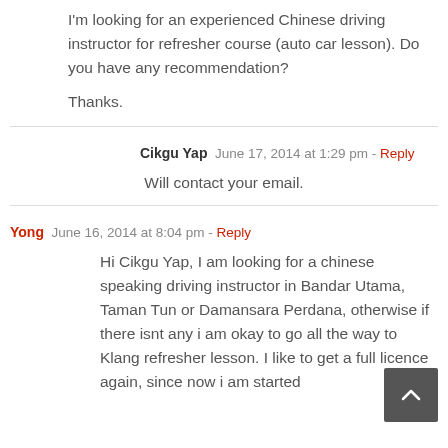I'm looking for an experienced Chinese driving instructor for refresher course (auto car lesson). Do you have any recommendation?
Thanks.
Cikgu Yap  June 17, 2014 at 1:29 pm - Reply
Will contact your email.
Yong  June 16, 2014 at 8:04 pm - Reply
Hi Cikgu Yap, I am looking for a chinese speaking driving instructor in Bandar Utama, Taman Tun or Damansara Perdana, otherwise if there isnt any i am okay to go all the way to Klang refresher lesson. I like to get a full licence again, since now i am started